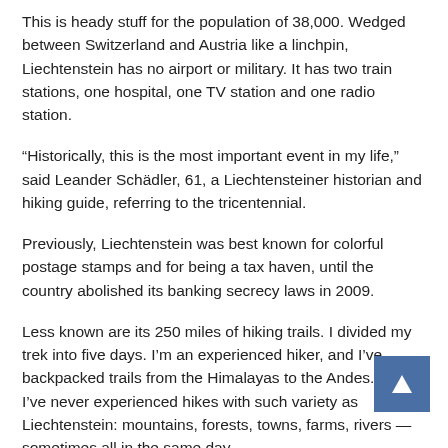This is heady stuff for the population of 38,000. Wedged between Switzerland and Austria like a linchpin, Liechtenstein has no airport or military. It has two train stations, one hospital, one TV station and one radio station.
“Historically, this is the most important event in my life,” said Leander Schädler, 61, a Liechtensteiner historian and hiking guide, referring to the tricentennial.
Previously, Liechtenstein was best known for colorful postage stamps and for being a tax haven, until the country abolished its banking secrecy laws in 2009.
Less known are its 250 miles of hiking trails. I divided my trek into five days. I’m an experienced hiker, and I’ve backpacked trails from the Himalayas to the Andes. But I’ve never experienced hikes with such variety as Liechtenstein: mountains, forests, towns, farms, rivers — sometimes all in the same day.
Despite the trail having 1.24 miles (about 2,000 meters) in